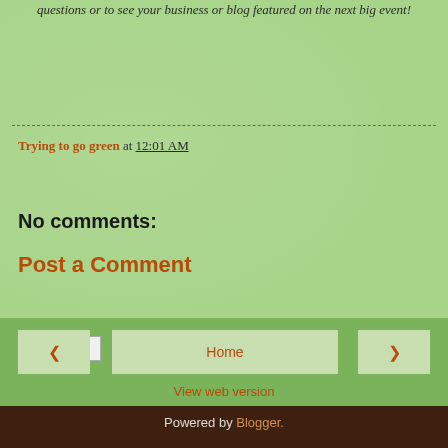questions or to see your business or blog featured on the next big event!
Trying to go green at 12:01 AM
Share
No comments:
Post a Comment
< Home >
View web version
Powered by Blogger.